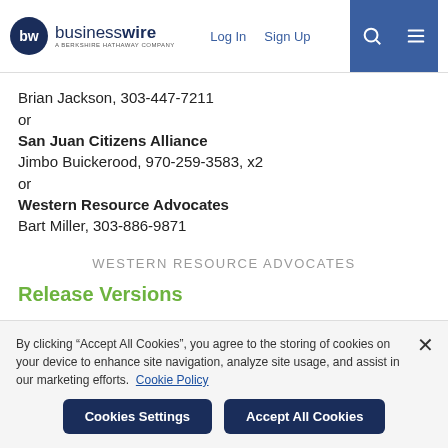businesswire - A BERKSHIRE HATHAWAY COMPANY | Log In | Sign Up
Brian Jackson, 303-447-7211
or
San Juan Citizens Alliance
Jimbo Buickerood, 970-259-3583, x2
or
Western Resource Advocates
Bart Miller, 303-886-9871
WESTERN RESOURCE ADVOCATES
Release Versions
By clicking “Accept All Cookies”, you agree to the storing of cookies on your device to enhance site navigation, analyze site usage, and assist in our marketing efforts. Cookie Policy
Cookies Settings | Accept All Cookies